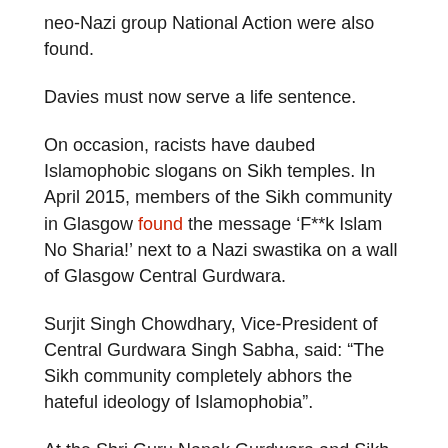neo-Nazi group National Action were also found.
Davies must now serve a life sentence.
On occasion, racists have daubed Islamophobic slogans on Sikh temples. In April 2015, members of the Sikh community in Glasgow found the message ‘F**k Islam No Sharia!’ next to a Nazi swastika on a wall of Glasgow Central Gurdwara.
Surjit Singh Chowdhary, Vice-President of Central Gurdwara Singh Sabha, said: “The Sikh community completely abhors the hateful ideology of Islamophobia”.
At the Shri Guru Nanak Gurdwara and Sikh Community Centre in Thornaby, vandals spray painted ‘White power,’ ‘Death to Allah,’ and ‘Die Muslims Die’ on the outside wall.
Others used the hashtag #AfterSeptember11 to highlight the racist backlash.
Update: on September 15, DuPage County State’s